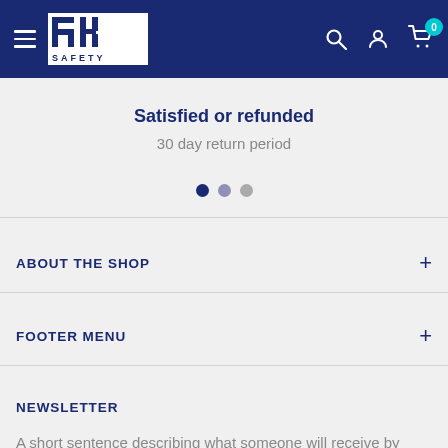RK Safety - navigation header with hamburger menu, logo, search, account, and cart icons
Satisfied or refunded
30 day return period
ABOUT THE SHOP
FOOTER MENU
NEWSLETTER
A short sentence describing what someone will receive by subscribing